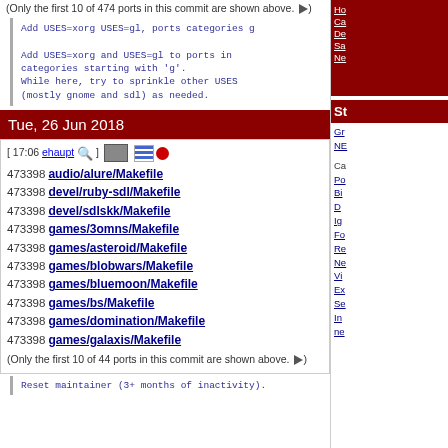(Only the first 10 of 474 ports in this commit are shown above. ▶)
Add USES=xorg USES=gl, ports categories g

Add USES=xorg and USES=gl to ports in
categories starting with 'g'.
While here, try to sprinkle other USES
(mostly gnome and sdl) as needed.
Tue, 26 Jun 2018
[ 17:06 ehaupt 🔍 ]
473398 audio/alure/Makefile
473398 devel/ruby-sdl/Makefile
473398 devel/sdlskk/Makefile
473398 games/3omns/Makefile
473398 games/asteroid/Makefile
473398 games/blobwars/Makefile
473398 games/bluemoon/Makefile
473398 games/bs/Makefile
473398 games/domination/Makefile
473398 games/galaxis/Makefile
(Only the first 10 of 44 ports in this commit are shown above. ▶)
Reset maintainer (3+ months of inactivity).